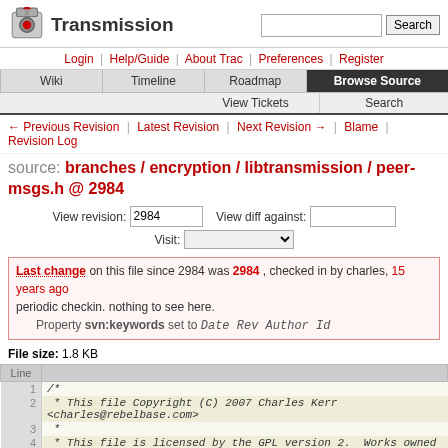Transmission — Search
Login | Help/Guide | About Trac | Preferences | Register
Wiki | Timeline | Roadmap | Browse Source | View Tickets | Search
← Previous Revision | Latest Revision | Next Revision → | Blame | Revision Log
source: branches / encryption / libtransmission / peer-msgs.h @ 2984
View revision: 2984   View diff against:   Visit:
Last change on this file since 2984 was 2984, checked in by charles, 15 years ago
periodic checkin. nothing to see here.
Property svn:keywords set to Date Rev Author Id
File size: 1.8 KB
| Line |  |
| --- | --- |
| 1 | /* |
| 2 |  * This file Copyright (C) 2007 Charles Kerr <charles@rebelbase.com> |
| 3 |  * |
| 4 |  * This file is licensed by the GPL version 2.  Works owned by the |
| 5 |  * Transmission project are granted a special exemption to allow... |